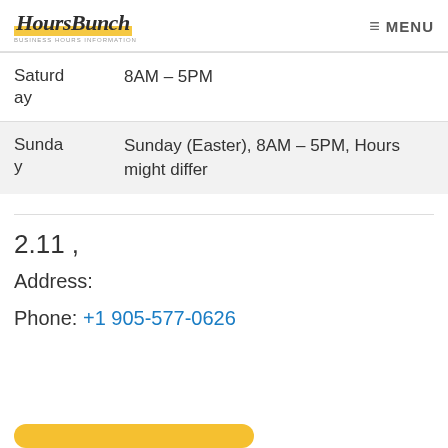HoursBunch — MENU
| Day | Hours |
| --- | --- |
| Saturday | 8AM – 5PM |
| Sunday | Sunday (Easter), 8AM – 5PM, Hours might differ |
2.11 ,
Address:
Phone: +1 905-577-0626